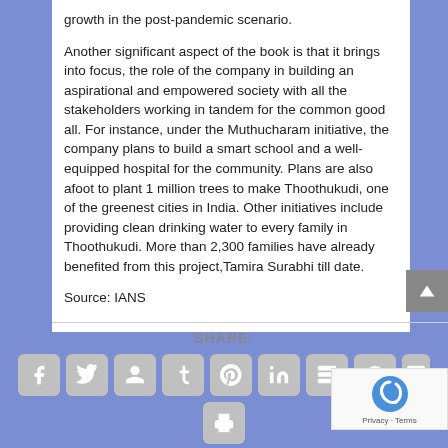growth in the post-pandemic scenario.

Another significant aspect of the book is that it brings into focus, the role of the company in building an aspirational and empowered society with all the stakeholders working in tandem for the common good all. For instance, under the Muthucharam initiative, the company plans to build a smart school and a well-equipped hospital for the community. Plans are also afoot to plant 1 million trees to make Thoothukudi, one of the greenest cities in India. Other initiatives include providing clean drinking water to every family in Thoothukudi. More than 2,300 families have already benefited from this project,Tamira Surabhi till date.
Source: IANS
SHARE: